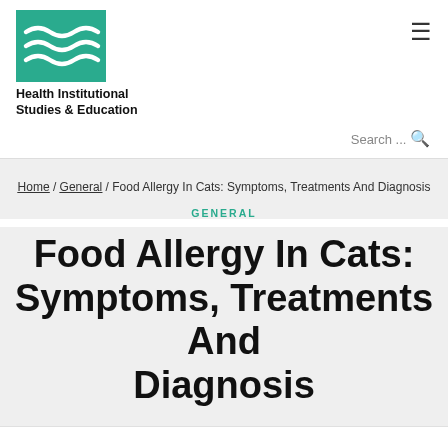Health Institutional Studies & Education
Search ...
Home / General / Food Allergy In Cats: Symptoms, Treatments And Diagnosis
GENERAL
Food Allergy In Cats: Symptoms, Treatments And Diagnosis